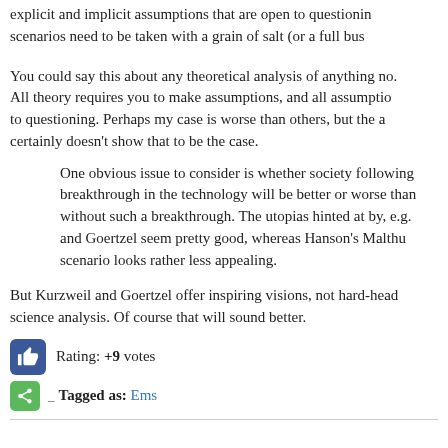explicit and implicit assumptions that are open to questioning. scenarios need to be taken with a grain of salt (or a full bus
You could say this about any theoretical analysis of anything no. All theory requires you to make assumptions, and all assumptions to questioning. Perhaps my case is worse than others, but the a certainly doesn’t show that to be the case.
One obvious issue to consider is whether society following a breakthrough in the technology will be better or worse than without such a breakthrough. The utopias hinted at by, e.g. and Goertzel seem pretty good, whereas Hanson’s Malthus scenario looks rather less appealing.
But Kurzweil and Goertzel offer inspiring visions, not hard-headed science analysis. Of course that will sound better.
Rating: +9 votes
Tagged as: Ems